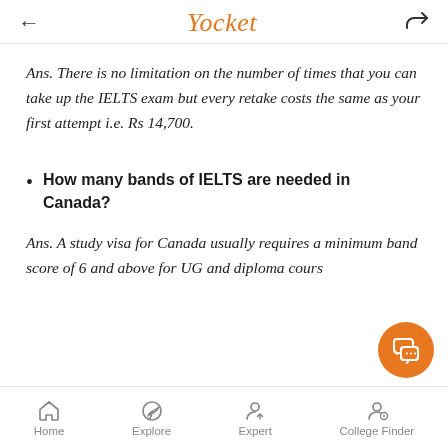Yocket
Ans. There is no limitation on the number of times that you can take up the IELTS exam but every retake costs the same as your first attempt i.e. Rs 14,700.
How many bands of IELTS are needed in Canada?
Ans. A study visa for Canada usually requires a minimum band score of 6 and above for UG and diploma cours…
Home  Explore  Expert  College Finder